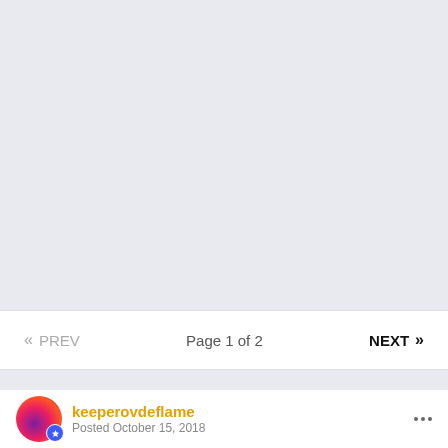[Figure (other): Large light gray/blue empty image placeholder area]
« PREV   Page 1 of 2   NEXT »
keeperovdeflame Posted October 15, 2018